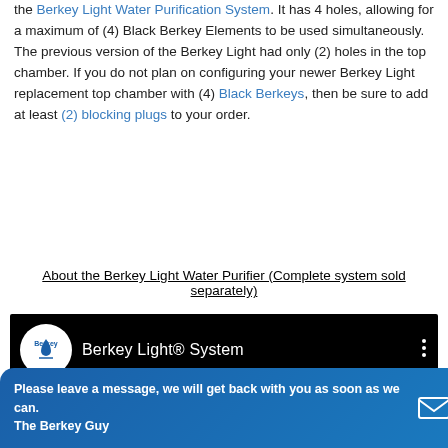the Berkey Light Water Purification System. It has 4 holes, allowing for a maximum of (4) Black Berkey Elements to be used simultaneously. The previous version of the Berkey Light had only (2) holes in the top chamber. If you do not plan on configuring your newer Berkey Light replacement top chamber with (4) Black Berkeys, then be sure to add at least (2) blocking plugs to your order.
About the Berkey Light Water Purifier (Complete system sold separately)
[Figure (screenshot): YouTube-style video embed with black background showing Berkey logo and title 'Berkey Light® System']
Please leave a message, we will get back with you as soon as we can. The Berkey Guy